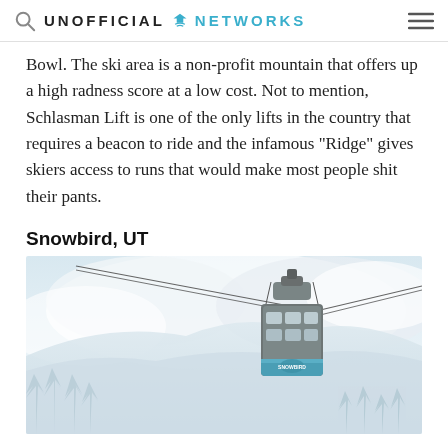UNOFFICIAL NETWORKS
Bowl. The ski area is a non-profit mountain that offers up a high radness score at a low cost. Not to mention, Schlasman Lift is one of the only lifts in the country that requires a beacon to ride and the infamous “Ridge” gives skiers access to runs that would make most people shit their pants.
Snowbird, UT
[Figure (photo): Snowbird aerial tram gondola cable car rising over snowy mountain landscape with clouds and snow-covered pine trees in background.]